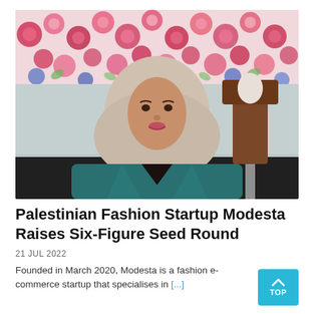[Figure (photo): A woman wearing a beige hijab and teal blazer, smiling, standing in front of a floral wall backdrop with a clothing mannequin visible in the background.]
Palestinian Fashion Startup Modesta Raises Six-Figure Seed Round
21 JUL 2022
Founded in March 2020, Modesta is a fashion e-commerce startup that specialises in [...]